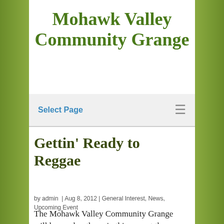Mohawk Valley Community Grange
Select Page
Gettin' Ready to Reggae
by admin | Aug 8, 2012 | General Interest, News, Upcoming Event
The Mohawk Valley Community Grange will have a booth again this year at the